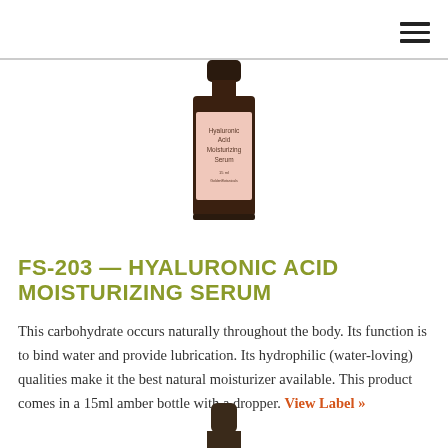[Figure (photo): A small amber glass dropper bottle with a pink label reading 'Hyaluronic Acid Moisturizing Serum']
FS-203 — HYALURONIC ACID MOISTURIZING SERUM
This carbohydrate occurs naturally throughout the body. Its function is to bind water and provide lubrication. Its hydrophilic (water-loving) qualities make it the best natural moisturizer available. This product comes in a 15ml amber bottle with a dropper. View Label »
[Figure (photo): Partial bottom view of another amber glass bottle]